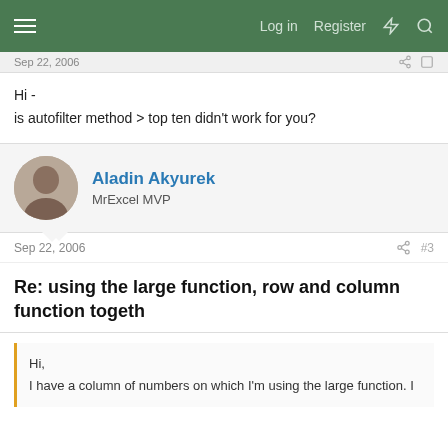Log in  Register
Sep 22, 2006
Hi -
is autofilter method > top ten didn't work for you?
Aladin Akyurek
MrExcel MVP
Sep 22, 2006  #3
Re: using the large function, row and column function togeth
Hi,

I have a column of numbers on which I'm using the large function. I